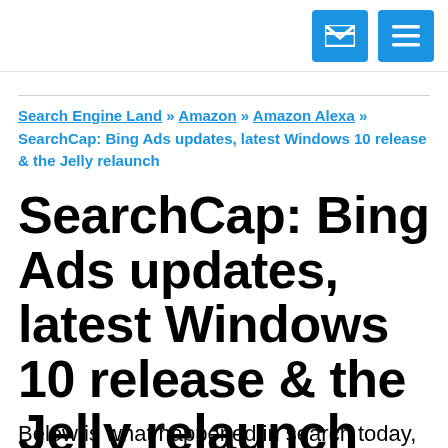[envelope icon] [menu icon]
Search Engine Land » Amazon » Amazon Alexa » SearchCap: Bing Ads updates, latest Windows 10 release & the Jelly relaunch
SearchCap: Bing Ads updates, latest Windows 10 release & the Jelly relaunch
Below is what happened in search today,